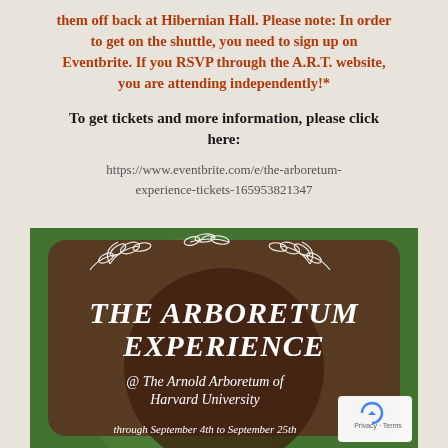them off back at Hibernian Hall. Please note: In order to get on the shuttle, you need to sign up on Eventbrite. If you RSVP through the A.R.T. website, you are attending independently!*
To get tickets and more information, please click here:
https://www.eventbrite.com/e/the-arboretum-experience-tickets-165953821347
[Figure (illustration): Promotional poster for The Arboretum Experience at The Arnold Arboretum of Harvard University. Dark green and brown background with leaf/botanical decorations. White italic text reads: THE ARBORETUM EXPERIENCE @ The Arnold Arboretum of Harvard University through September 4th to September 25th. reCAPTCHA Privacy · Terms badge visible in bottom right.]